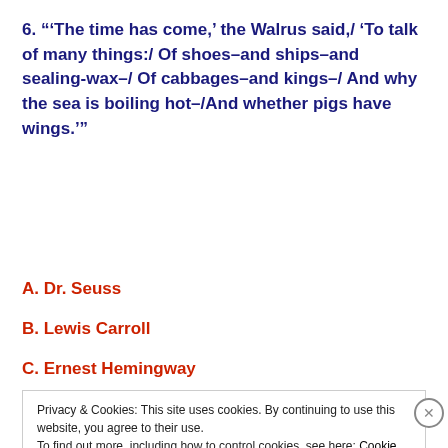6. "'The time has come,' the Walrus said,/ 'To talk of many things:/ Of shoes–and ships–and sealing-wax–/ Of cabbages–and kings–/ And why the sea is boiling hot–/And whether pigs have wings.'"
A. Dr. Seuss
B. Lewis Carroll
C. Ernest Hemingway
Privacy & Cookies: This site uses cookies. By continuing to use this website, you agree to their use.
To find out more, including how to control cookies, see here: Cookie Policy